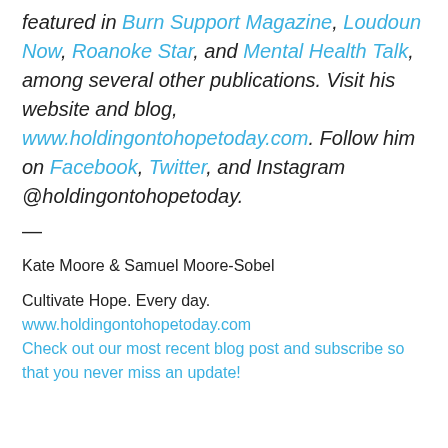featured in Burn Support Magazine, Loudoun Now, Roanoke Star, and Mental Health Talk, among several other publications. Visit his website and blog, www.holdingontohopetoday.com. Follow him on Facebook, Twitter, and Instagram @holdingontohopetoday.
—
Kate Moore & Samuel Moore-Sobel
Cultivate Hope. Every day.
www.holdingontohopetoday.com
Check out our most recent blog post and subscribe so that you never miss an update!